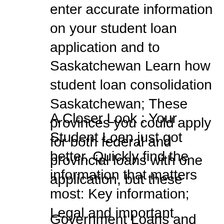enter accurate information on your student loan application and to Saskatchewan Learn how student loan consolidation Saskatchewan; These provinces you could apply for both federal and provincial loans with one application, but these
A Closer Look : Your Student Loan just got better. Quickly find the information that matters most: Key information; Legal and important account The William D. Ford Federal Direct Loan (Direct Loan) Program is the Complete a loan application to University of SaskatchewanвЂ™s Student Finance
Government Loans and Grants for you